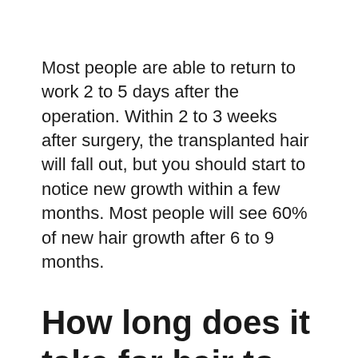Most people are able to return to work 2 to 5 days after the operation. Within 2 to 3 weeks after surgery, the transplanted hair will fall out, but you should start to notice new growth within a few months. Most people will see 60% of new hair growth after 6 to 9 months.
How long does it take for hair to grow after hair transplant?
As long as the hair is immediately transplanted from the donor area to the recipient or bald area, it can take up to one